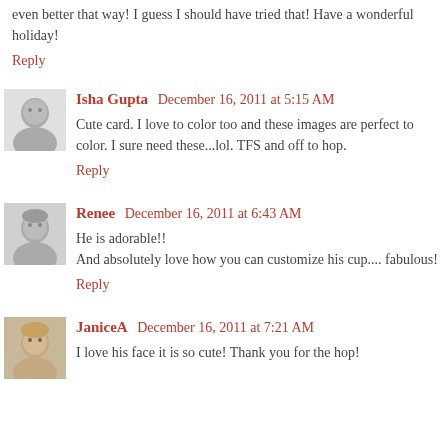even better that way! I guess I should have tried that! Have a wonderful holiday!
Reply
Isha Gupta  December 16, 2011 at 5:15 AM
Cute card. I love to color too and these images are perfect to color. I sure need these...lol. TFS and off to hop.
Reply
Renee  December 16, 2011 at 6:43 AM
He is adorable!! And absolutely love how you can customize his cup.... fabulous!
Reply
JaniceA  December 16, 2011 at 7:21 AM
I love his face it is so cute! Thank you for the hop!